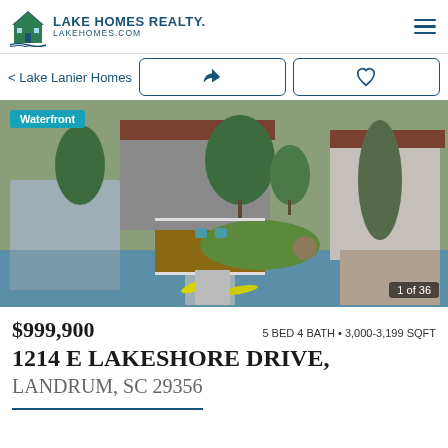[Figure (logo): Lake Homes Realty logo with house icon and LakeHomes.com URL]
< Lake Lanier Homes
[Figure (photo): Aerial photo of waterfront lake home at 1214 E Lakeshore Drive with dock, kayaks, and surrounding properties. Badge: Waterfront. Counter: 1 of 36]
$999,900   5 BED 4 BATH • 3,000-3,199 SQFT
1214 E LAKESHORE DRIVE, LANDRUM, SC 29356